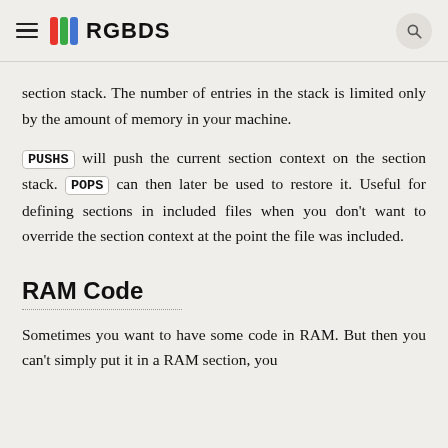RGBDS
section stack. The number of entries in the stack is limited only by the amount of memory in your machine.
PUSHS will push the current section context on the section stack. POPS can then later be used to restore it. Useful for defining sections in included files when you don't want to override the section context at the point the file was included.
RAM Code
Sometimes you want to have some code in RAM. But then you can't simply put it in a RAM section, you